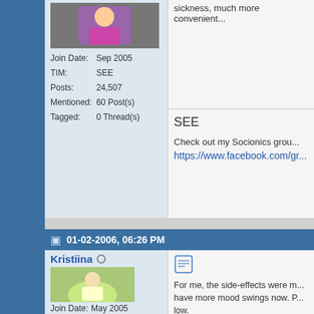sickness, much more convenient...
| Join Date: | Sep 2005 |
| TIM: | SEE |
| Posts: | 24,507 |
| Mentioned: | 60 Post(s) |
| Tagged: | 0 Thread(s) |
SEE
Check out my Socionics grou...
https://www.facebook.com/gr...
01-02-2006, 06:26 PM
Kristiina
Join Date:    May 2005
For me, the side-effects were m... have more mood swings now. P... low.

I feel a slight difference. Now I a... been something else that I thou... ISTj?! I have been going around... stupid now!"